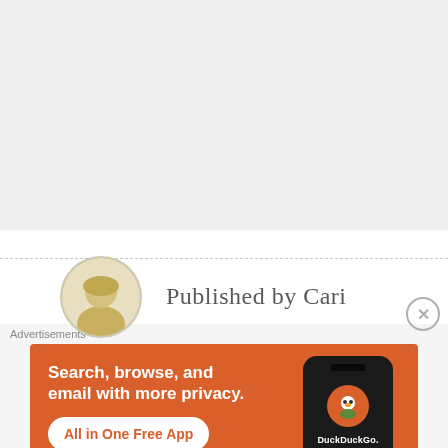[Figure (other): Gray background area at top of page, partially visible content area]
Published by Cari
Advertisements
[Figure (screenshot): DuckDuckGo advertisement banner with orange background. Text: 'Search, browse, and email with more privacy. All in One Free App'. Shows a phone mockup with DuckDuckGo logo.]